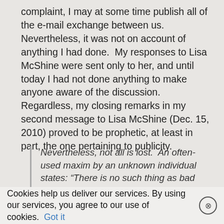complaint, I may at some time publish all of the e-mail exchange between us.  Nevertheless, it was not on account of anything I had done.  My responses to Lisa McShine were sent only to her, and until today I had not done anything to make anyone aware of the discussion.  Regardless, my closing remarks in my second message to Lisa McShine (Dec. 15, 2010) proved to be prophetic, at least in part, the one pertaining to publicity.
Nevertheless, not all is lost.  An often-used maxim by an unknown individual states: “There is no such thing as bad publicity.”  That principle brought fame, power and fortune to many people.  Let’s hope that the discussion of the book at Father for life will help to encourage...
Cookies help us deliver our services. By using our services, you agree to our use of cookies. Got it